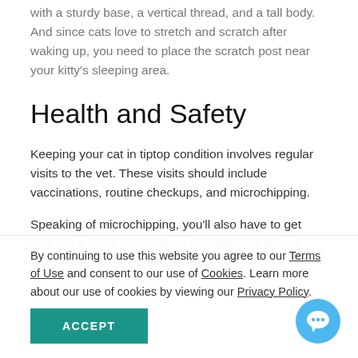with a sturdy base, a vertical thread, and a tall body. And since cats love to stretch and scratch after waking up, you need to place the scratch post near your kitty's sleeping area.
Health and Safety
Keeping your cat in tiptop condition involves regular visits to the vet. These visits should include vaccinations, routine checkups, and microchipping.
Speaking of microchipping, you'll also have to get your cat a collar and a name tag with your phone number–even if it's kept indoors.
By continuing to use this website you agree to our Terms of Use and consent to our use of Cookies. Learn more about our use of cookies by viewing our Privacy Policy.
ACCEPT